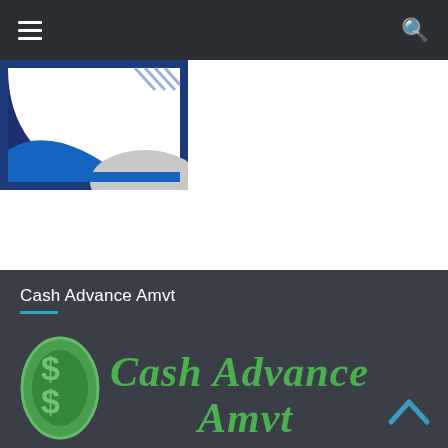Navigation bar with hamburger menu and search icon
[Figure (logo): Partial blue and grey abstract graphic/logo in upper left of white content area]
Cash Advance Amvt
[Figure (logo): Cash Advance Amvt logo with green dollar sign icon and green cursive script text reading 'Cash Advance Amvt']